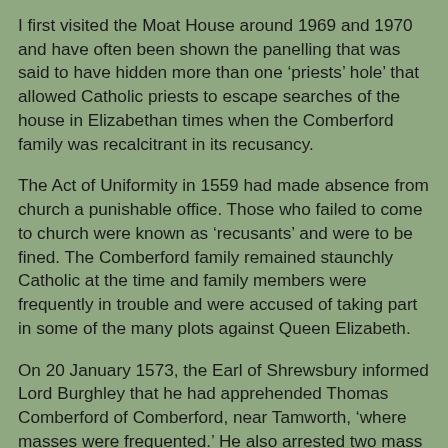I first visited the Moat House around 1969 and 1970 and have often been shown the panelling that was said to have hidden more than one ‘priests’ hole’ that allowed Catholic priests to escape searches of the house in Elizabethan times when the Comberford family was recalcitrant in its recusancy.
The Act of Uniformity in 1559 had made absence from church a punishable office. Those who failed to come to church were known as ‘recusants’ and were to be fined. The Comberford family remained staunchly Catholic at the time and family members were frequently in trouble and were accused of taking part in some of the many plots against Queen Elizabeth.
On 20 January 1573, the Earl of Shrewsbury informed Lord Burghley that he had apprehended Thomas Comberford of Comberford, near Tamworth, ‘where masses were frequented.’ He also arrested two mass priests who had said a very large number of Masses there. Shrewsbury added that he wished ‘bishops and others in authority ... would have more regard unto their charges and not suffer